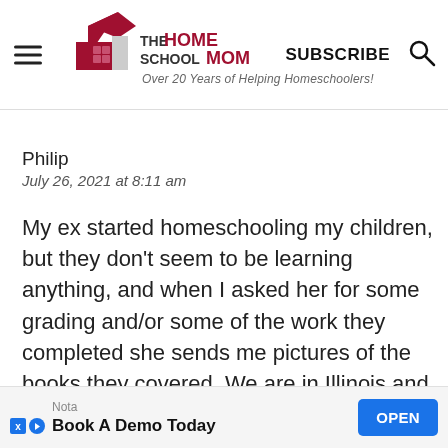THE HOMESCHOOL MOM — Over 20 Years of Helping Homeschoolers! | SUBSCRIBE
Philip
July 26, 2021 at 8:11 am
My ex started homeschooling my children, but they don't seem to be learning anything, and when I asked her for some grading and/or some of the work they completed she sends me pictures of the books they covered. We are in Illinois and I am actually appalled that they don't require any records or any[thing she...]h
Nota
Book A Demo Today
OPEN